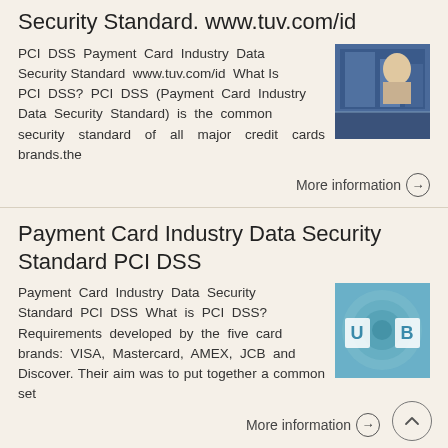Security Standard. www.tuv.com/id
PCI DSS Payment Card Industry Data Security Standard www.tuv.com/id What Is PCI DSS? PCI DSS (Payment Card Industry Data Security Standard) is the common security standard of all major credit cards brands.the
More information →
Payment Card Industry Data Security Standard PCI DSS
Payment Card Industry Data Security Standard PCI DSS What is PCI DSS? Requirements developed by the five card brands: VISA, Mastercard, AMEX, JCB and Discover. Their aim was to put together a common set
More information →